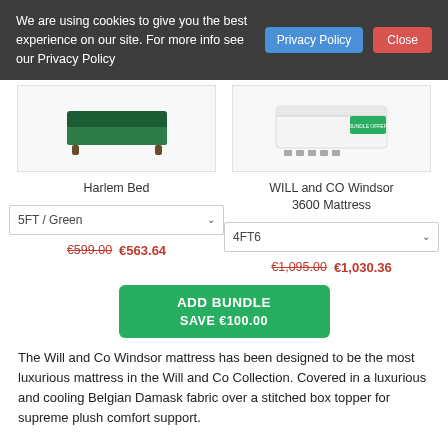We are using cookies to give you the best experience on our site. For more info see our Privacy Policy  [Privacy Policy]  [Close]
[Figure (photo): Harlem Bed - dark green velvet bed frame with wooden legs]
Harlem Bed
5FT / Green ∨
€599.00  €563.64
[Figure (photo): WILL and CO Windsor 3600 Mattress - white mattress with green sale badge]
WILL and CO Windsor 3600 Mattress
4FT6 ∨
€1,095.00  €1,030.36
ADD BUNDLE
SAVE €100.00
The Will and Co Windsor mattress has been designed to be the most luxurious mattress in the Will and Co Collection. Covered in a luxurious and cooling Belgian Damask fabric over a stitched box topper for supreme plush comfort support.